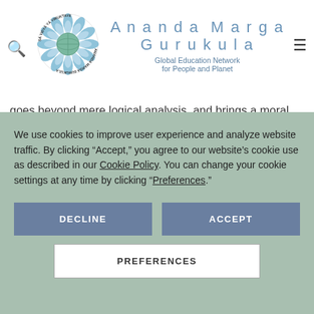[Figure (logo): Ananda Marga Gurukula circular logo with lotus flower and globe]
Ananda Marga Gurukula
Global Education Network for People and Planet
goes beyond mere logical analysis, and brings a moral
We use cookies to improve user experience and analyze website traffic. By clicking “Accept,” you agree to our website’s cookie use as described in our Cookie Policy. You can change your cookie settings at any time by clicking “Preferences.”
DECLINE
ACCEPT
PREFERENCES